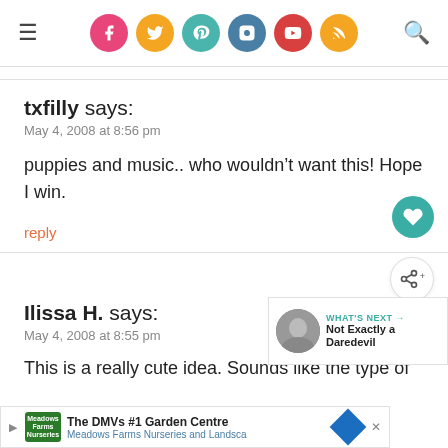Social icons: Facebook, Twitter, Pinterest, Instagram, YouTube, RSS. Hamburger menu left. Search icon right.
txfilly says:
May 4, 2008 at 8:56 pm
puppies and music.. who wouldn’t want this! Hope I win.
reply
Ilissa H. says:
May 4, 2008 at 8:55 pm
This is a really cute idea. Sounds like the type of DV...
[Figure (infographic): WHAT'S NEXT arrow. Not Exactly a Daredevil. Circular profile photo.]
[Figure (infographic): Advertisement: The DMVs #1 Garden Centre. Meadows Farms Nurseries and Landsca. Play button, X close, blue diamond logo.]